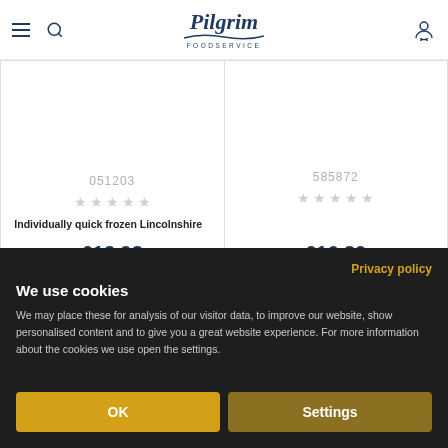Pilgrim Foodservice
051203
585872
Individually quick frozen Lincolnshire
£12.98
£16.89
Privacy policy
We use cookies
We may place these for analysis of our visitor data, to improve our website, show personalised content and to give you a great website experience. For more information about the cookies we use open the settings.
OK
Settings